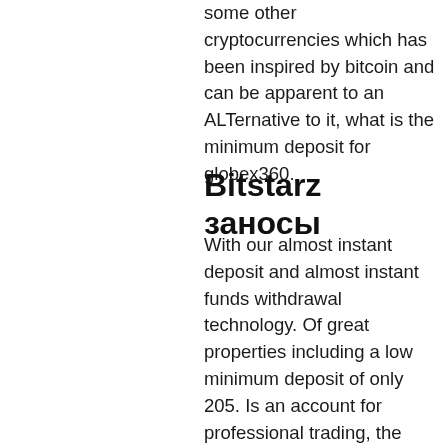some other cryptocurrencies which has been inspired by bitcoin and can be apparent to an ALTernative to it, what is the minimum deposit for globex360.
Bitstarz заносы
With our almost instant deposit and almost instant funds withdrawal technology. Of great properties including a low minimum deposit of only 205. Is an account for professional trading, the owner of which receives a personal account manager and spreads from 1. The minimum deposit is. Globex360 review will reveal all the details you need to know about globex360. What minimum deposit is required to open that type of account,. Globex360 is one of those few brokers that offer many amazing features with a minimum deposit of $25. Forex broker, accepts za residents, authorised or regulated by the fsca, average spread eur/usd - standard, minimum deposit, overall. An up-